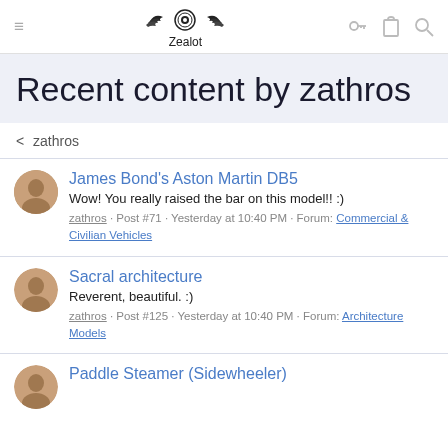Zealot — navigation header with hamburger menu, logo, key, clipboard, and search icons
Recent content by zathros
< zathros
James Bond's Aston Martin DB5 — Wow! You really raised the bar on this model!! :) — zathros · Post #71 · Yesterday at 10:40 PM · Forum: Commercial & Civilian Vehicles
Sacral architecture — Reverent, beautiful. :) — zathros · Post #125 · Yesterday at 10:40 PM · Forum: Architecture Models
Paddle Steamer (Sidewheeler)